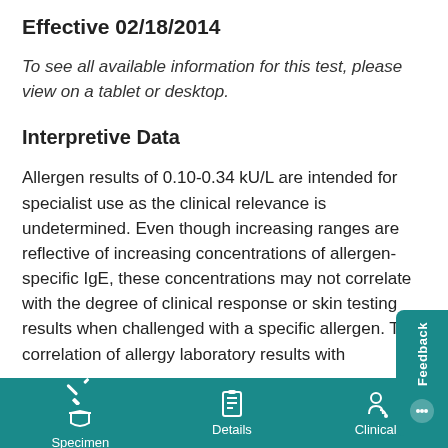Effective 02/18/2014
To see all available information for this test, please view on a tablet or desktop.
Interpretive Data
Allergen results of 0.10-0.34 kU/L are intended for specialist use as the clinical relevance is undetermined. Even though increasing ranges are reflective of increasing concentrations of allergen-specific IgE, these concentrations may not correlate with the degree of clinical response or skin testing results when challenged with a specific allergen. The correlation of allergy laboratory results with
Specimen   Details   Clinical